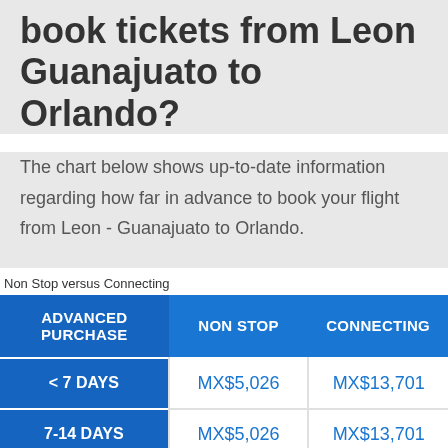book tickets from Leon Guanajuato to Orlando?
The chart below shows up-to-date information regarding how far in advance to book your flight from Leon - Guanajuato to Orlando.
Non Stop versus Connecting
| ADVANCED PURCHASE | NON STOP | CONNECTING |
| --- | --- | --- |
| < 7 DAYS | MX$5,026 | MX$13,701 |
| 7-14 DAYS | MX$5,026 | MX$13,701 |